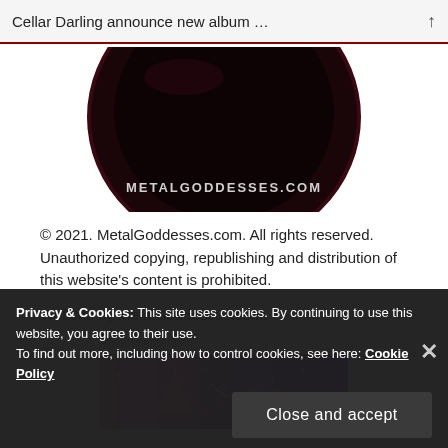Cellar Darling announce new album …
[Figure (logo): Circular dark logo with METALGODDESSES.COM text, dark maroon/black design]
© 2021. MetalGoddesses.com. All rights reserved. Unauthorized copying, republishing and distribution of this website's content is prohibited.
Website by MetalGoddesses.com.
Advertisements
[Figure (illustration): Colorful advertisement banner with purple/pink gradient and festive cartoon illustrations]
Privacy & Cookies: This site uses cookies. By continuing to use this website, you agree to their use.
To find out more, including how to control cookies, see here: Cookie Policy
Close and accept